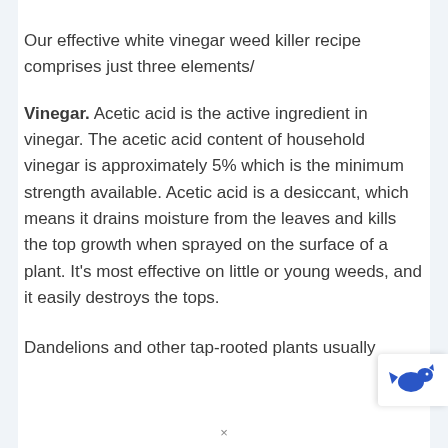Our effective white vinegar weed killer recipe comprises just three elements/
Vinegar. Acetic acid is the active ingredient in vinegar. The acetic acid content of household vinegar is approximately 5% which is the minimum strength available. Acetic acid is a desiccant, which means it drains moisture from the leaves and kills the top growth when sprayed on the surface of a plant. It's most effective on little or young weeds, and it easily destroys the tops.
Dandelions and other tap-rooted plants usually
[Figure (logo): Blue animal logo icon, partially visible in lower right corner overlay]